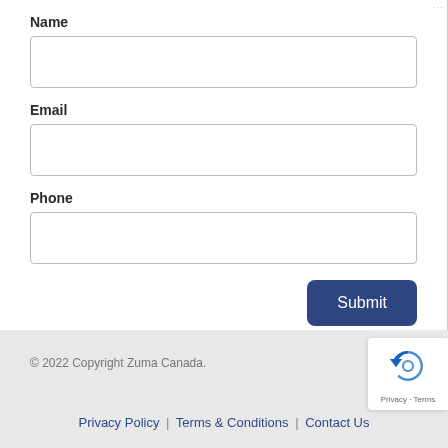Name
Email
Phone
Submit
© 2022 Copyright Zuma Canada.
Privacy Policy | Terms & Conditions | Contact Us